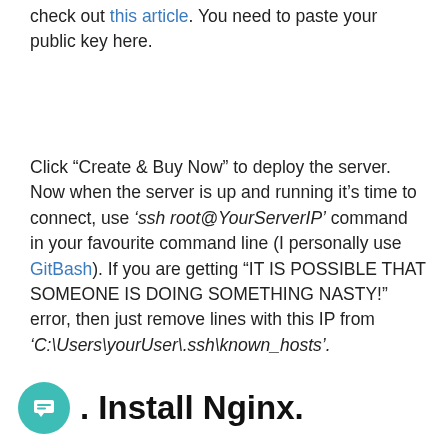check out this article. You need to paste your public key here.
Click “Create & Buy Now” to deploy the server. Now when the server is up and running it’s time to connect, use ‘ssh root@YourServerIP’ command in your favourite command line (I personally use GitBash). If you are getting “IT IS POSSIBLE THAT SOMEONE IS DOING SOMETHING NASTY!” error, then just remove lines with this IP from ‘C:\Users\yourUser\.ssh\known_hosts’.
. Install Nginx.